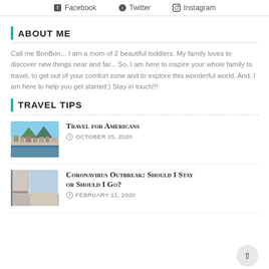Facebook   Twitter   Instagram
ABOUT ME
Call me BonBon... I am a mom of 2 beautiful toddlers. My family loves to discover new things near and far... So, I am here to inspire your whole family to travel, to get out of your comfort zone and to explore this wonderful world. And, I am here to help you get started:) Stay in touch!!!
TRAVEL TIPS
[Figure (photo): Aerial cityscape photo showing a city with mountains in background]
Travel for Americans
OCTOBER 15, 2020
[Figure (photo): Interior photo with glass wall/window view]
Coronavirus Outbreak: Should I Stay or Should I Go?
FEBRUARY 11, 2020